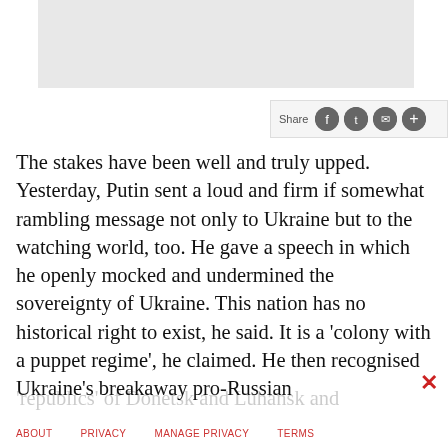[Figure (photo): Image placeholder – light grey rectangle at top of page]
The stakes have been well and truly upped. Yesterday, Putin sent a loud and firm if somewhat rambling message not only to Ukraine but to the watching world, too. He gave a speech in which he openly mocked and undermined the sovereignty of Ukraine. This nation has no historical right to exist, he said. It is a 'colony with a puppet regime', he claimed. He then recognised Ukraine's breakaway pro-Russian
'republics' of Donetsk and Luhansk and ordered his
ABOUT   PRIVACY   MANAGE PRIVACY   TERMS